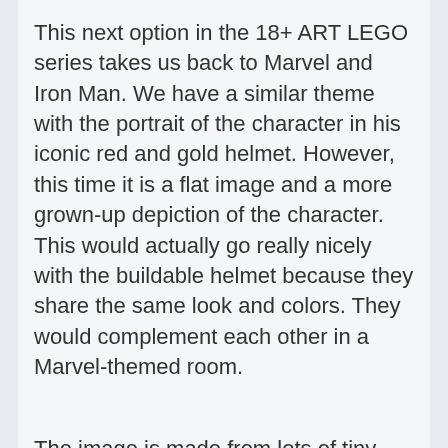This next option in the 18+ ART LEGO series takes us back to Marvel and Iron Man. We have a similar theme with the portrait of the character in his iconic red and gold helmet. However, this time it is a flat image and a more grown-up depiction of the character. This would actually go really nicely with the buildable helmet because they share the same look and colors. They would complement each other in a Marvel-themed room.
The image is made from lots of tiny circular bricks to create the pixelated effect. The tones and shaping are impressive. There are also more than 3000 pieces here so you can choose the final image from a selection of expressions. You can